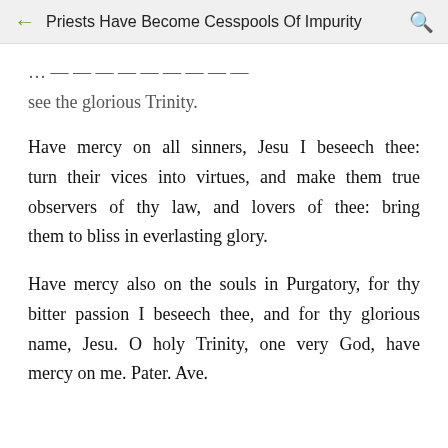Priests Have Become Cesspools Of Impurity
see the glorious Trinity.
Have mercy on all sinners, Jesu I beseech thee: turn their vices into virtues, and make them true observers of thy law, and lovers of thee: bring them to bliss in everlasting glory.
Have mercy also on the souls in Purgatory, for thy bitter passion I beseech thee, and for thy glorious name, Jesu. O holy Trinity, one very God, have mercy on me. Pater. Ave.